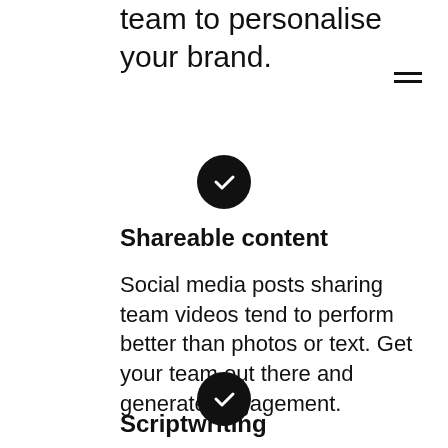team to personalise your brand.
[Figure (illustration): Black circle with white checkmark icon]
Shareable content
Social media posts sharing team videos tend to perform better than photos or text. Get your team out there and generate engagement.
[Figure (illustration): Black circle with white checkmark icon]
Scriptwriting